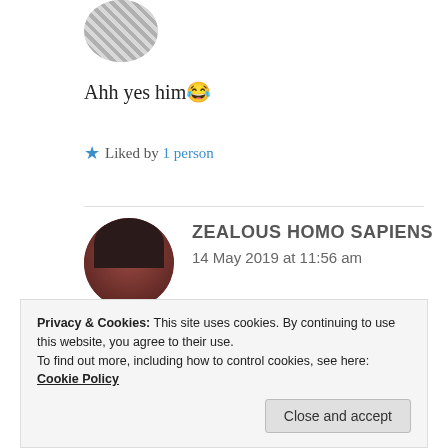[Figure (photo): Circular avatar photo of a person in a patterned outfit, partially cropped at top]
Ahh yes him 😂
★ Liked by 1 person
[Figure (photo): Circular avatar of a person with dark hair against a reddish-brown background]
ZEALOUS HOMO SAPIENS
14 May 2019 at 11:56 am
Lol 😂😂😂
Privacy & Cookies: This site uses cookies. By continuing to use this website, you agree to their use.
To find out more, including how to control cookies, see here: Cookie Policy
Close and accept